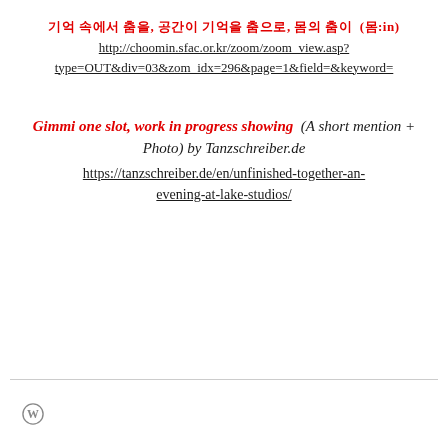기억 속에서 춤을, 공간이 기억을 춤으로, 몸의 춤이 (몸:in) http://choomin.sfac.or.kr/zoom/zoom_view.asp?type=OUT&div=03&zom_idx=296&page=1&field=&keyword=
Gimmi one slot, work in progress showing  (A short mention + Photo) by Tanzschreiber.de https://tanzschreiber.de/en/unfinished-together-an-evening-at-lake-studios/
[Figure (logo): WordPress logo icon at bottom left]